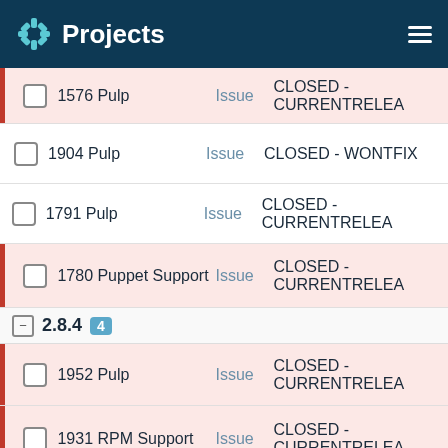Projects
|  | ID | Project | Type | Status |
| --- | --- | --- | --- | --- |
|  | 1576 | Pulp | Issue | CLOSED - CURRENTRELEA |
|  | 1904 | Pulp | Issue | CLOSED - WONTFIX |
|  | 1791 | Pulp | Issue | CLOSED - CURRENTRELEA |
|  | 1780 | Puppet Support | Issue | CLOSED - CURRENTRELEA |
2.8.4  4
|  | ID | Project | Type | Status |
| --- | --- | --- | --- | --- |
|  | 1952 | Pulp | Issue | CLOSED - CURRENTRELEA |
|  | 1931 | RPM Support | Issue | CLOSED - CURRENTRELEA |